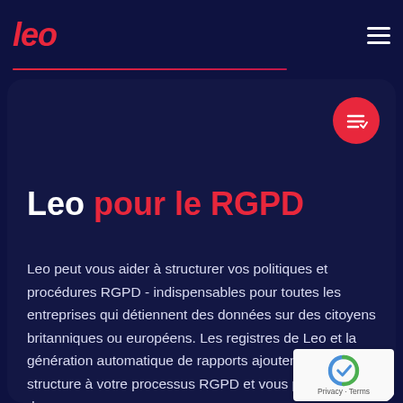leo
Leo pour le RGPD
Leo peut vous aider à structurer vos politiques et procédures RGPD - indispensables pour toutes les entreprises qui détiennent des données sur des citoyens britanniques ou européens. Les registres de Leo et la génération automatique de rapports ajoutent de la structure à votre processus RGPD et vous permettent de